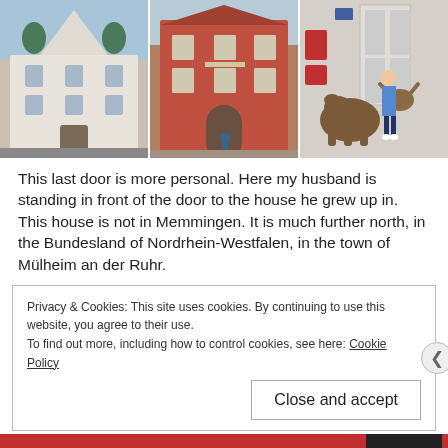[Figure (photo): Three photos side by side: left shows a white baroque-style building with green domed towers; center shows a red brick historic building with a person standing in front; right shows a woman standing next to a bronze bear and bull sculpture in front of a building entrance.]
This last door is more personal. Here my husband is standing in front of the door to the house he grew up in. This house is not in Memmingen. It is much further north, in the Bundesland of Nordrhein-Westfalen, in the town of Mülheim an der Ruhr.
Privacy & Cookies: This site uses cookies. By continuing to use this website, you agree to their use.
To find out more, including how to control cookies, see here: Cookie Policy
Close and accept